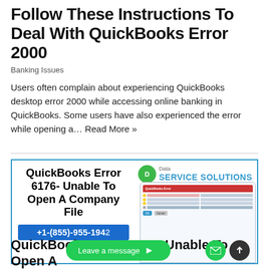Follow These Instructions To Deal With QuickBooks Error 2000
Banking Issues
Users often complain about experiencing QuickBooks desktop error 2000 while accessing online banking in QuickBooks. Some users have also experienced the error while opening a… Read More »
[Figure (screenshot): Advertisement for QuickBooks Error 6176- Unable To Open A Company File with phone number +1-(855)-955-1942 and Data Service Solutions logo, showing a screenshot of a QuickBooks error dialog]
QuickBooks Error 6176- Unable To Open A Company File